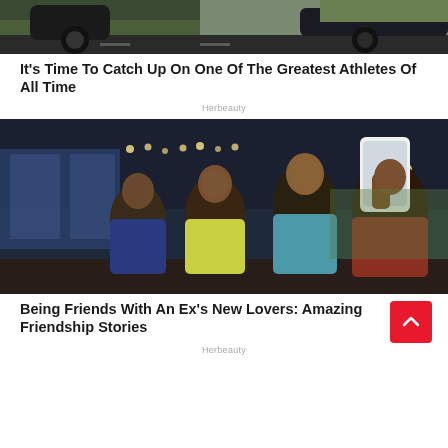[Figure (photo): Top portion of a car/vehicle image, showing tires and body of a dark vehicle on a road with green grass in the background]
It's Time To Catch Up On One Of The Greatest Athletes Of All Time
Herbeauty
[Figure (photo): Group selfie photo of four people smiling in a restaurant or lounge setting. A young person holds a phone to take the selfie, with three other people posing together.]
Being Friends With An Ex's New Lovers: Amazing Friendship Stories
Herbeauty